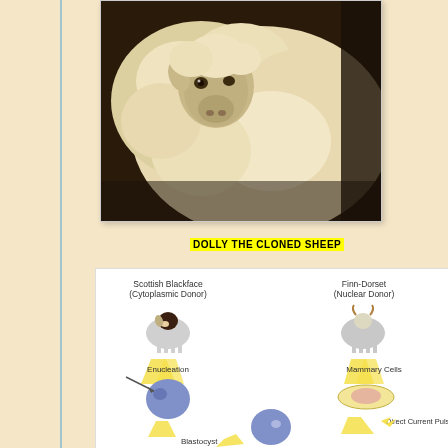[Figure (photo): Close-up photo of Dolly the cloned sheep, showing face and woolly body]
DOLLY THE CLONED SHEEP
[Figure (flowchart): Diagram showing the cloning process of Dolly the sheep. Left side: Scottish Blackface (Cytoplasmic Donor) sheep with Enucleation of egg cell. Right side: Finn-Dorset (Nuclear Donor) sheep with Mammary Cells in petri dish. Arrows show cells combining with Direct Current Pulse, leading to Blastocyst at the bottom.]